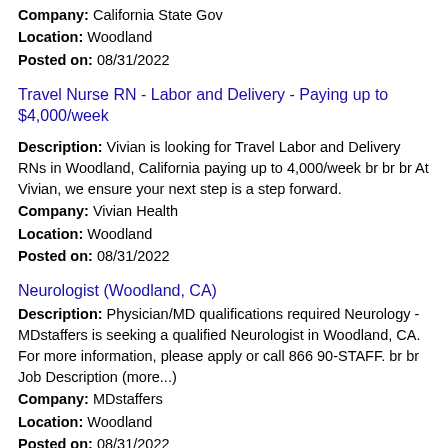Company: California State Gov
Location: Woodland
Posted on: 08/31/2022
Travel Nurse RN - Labor and Delivery - Paying up to $4,000/week
Description: Vivian is looking for Travel Labor and Delivery RNs in Woodland, California paying up to 4,000/week br br br At Vivian, we ensure your next step is a step forward.
Company: Vivian Health
Location: Woodland
Posted on: 08/31/2022
Neurologist (Woodland, CA)
Description: Physician/MD qualifications required Neurology - MDstaffers is seeking a qualified Neurologist in Woodland, CA. For more information, please apply or call 866 90-STAFF. br br Job Description (more...)
Company: MDstaffers
Location: Woodland
Posted on: 08/31/2022
Staff RN PD Labor And Delivery Services